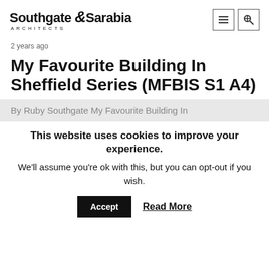Southgate & Sarabia ARCHITECTS
2 years ago
My Favourite Building In Sheffield Series (MFBIS S1 A4)
By Ruby Southgate My Favourite Building In
This website uses cookies to improve your experience.
We'll assume you're ok with this, but you can opt-out if you wish.
Accept   Read More